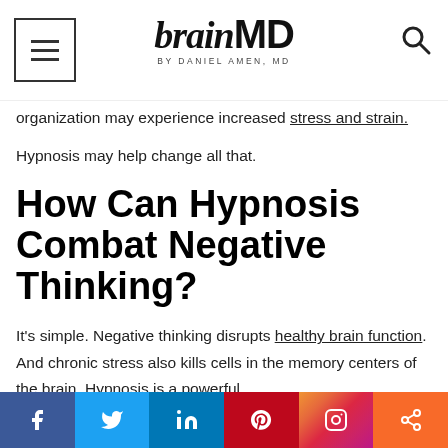brainMD BY DANIEL AMEN, MD
organization may experience increased stress and strain.
Hypnosis may help change all that.
How Can Hypnosis Combat Negative Thinking?
It's simple. Negative thinking disrupts healthy brain function. And chronic stress also kills cells in the memory centers of the brain. Hypnosis is a powerful
Facebook Twitter LinkedIn Pinterest Instagram Share